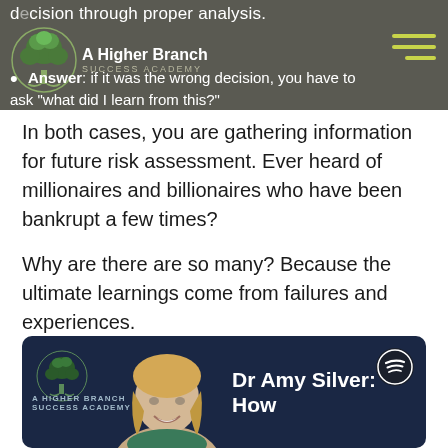decision through proper analysis.
Answer: if it was the wrong decision, you have to ask "what did I learn from this?"
In both cases, you are gathering information for future risk assessment. Ever heard of millionaires and billionaires who have been bankrupt a few times?
Why are there are so many? Because the ultimate learnings come from failures and experiences.
This is the zone where you should live your life. We are not saying it's easy, but it's definitely not numb.
[Figure (screenshot): Podcast card for 'A Higher Branch Success Academy' featuring Dr Amy Silver, with Spotify logo and dark navy background with a smiling blonde woman photo.]